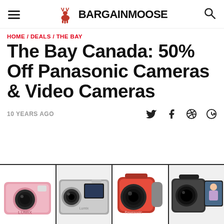BARGAINMOOSE
HOME / DEALS / THE BAY
The Bay Canada: 50% Off Panasonic Cameras & Video Cameras
10 YEARS AGO
[Figure (photo): Four Panasonic cameras and video cameras shown side by side in a product strip: pink compact camera (Lumix), silver compact camera, red camcorder, black camcorder with screen displaying a person.]